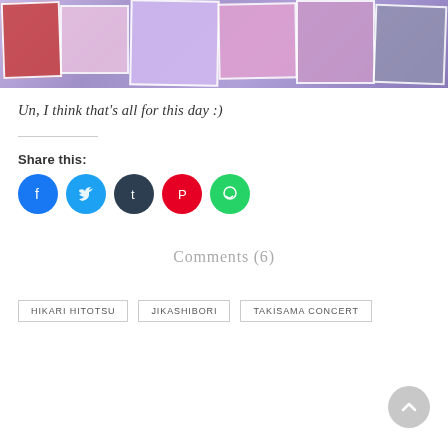[Figure (photo): Concert photo collage showing performers dancing and singing on stage with colorful background]
Un, I think that's all for this day :)
Share this:
[Figure (infographic): Social media share buttons: Facebook, Twitter, Tumblr, Pinterest, WhatsApp]
Comments (6)
HIKARI HITOTSU
JIKASHIBORI
TAKISAMA CONCERT